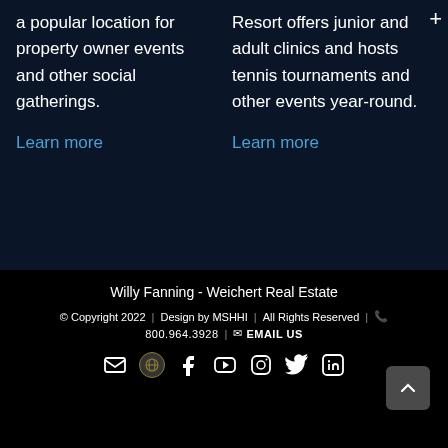a popular location for property owner events and other social gatherings.
Learn more
Resort offers junior and adult clinics and hosts tennis tournaments and other events year-round.
Learn more
Willy Fanning - Weichert Real Estate
© Copyright 2022 | Design by MSHHI | All Rights Reserved | 800.964.3928 | EMAIL US